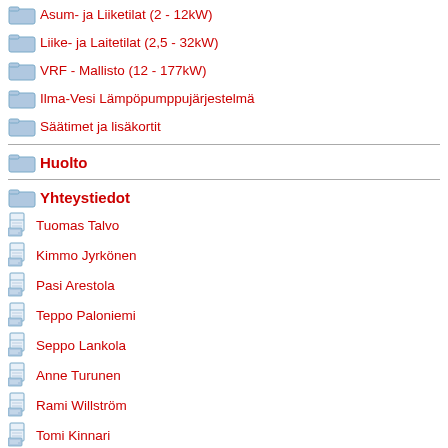Asum- ja Liiketilat (2 - 12kW)
Liike- ja Laitetilat (2,5 - 32kW)
VRF - Mallisto (12 - 177kW)
Ilma-Vesi Lämpöpumppujärjestelmä
Säätimet ja lisäkortit
Huolto
Yhteystiedot
Tuomas Talvo
Kimmo Jyrkönen
Pasi Arestola
Teppo Paloniemi
Seppo Lankola
Anne Turunen
Rami Willström
Tomi Kinnari
Harri Mainola
Juha Sonne
Tero Sjöberg
Referenssit